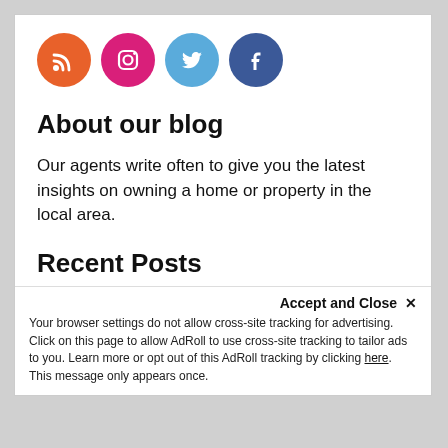[Figure (illustration): Row of four social media icon circles: RSS (orange), Instagram (pink/magenta), Twitter (light blue), Facebook (dark blue)]
About our blog
Our agents write often to give you the latest insights on owning a home or property in the local area.
Recent Posts
[Figure (photo): Thumbnail image with green background showing a checkmark and a house with magnifying glass icon]
Why a Home Inspection Is Important [INFOGRAPHIC]
[Figure (photo): Thumbnail image of person standing in a home near glass doors]
Planning To Retire? Your Equity Can Help You Reach Your Goal.
Accept and Close ✕
Your browser settings do not allow cross-site tracking for advertising. Click on this page to allow AdRoll to use cross-site tracking to tailor ads to you. Learn more or opt out of this AdRoll tracking by clicking here. This message only appears once.